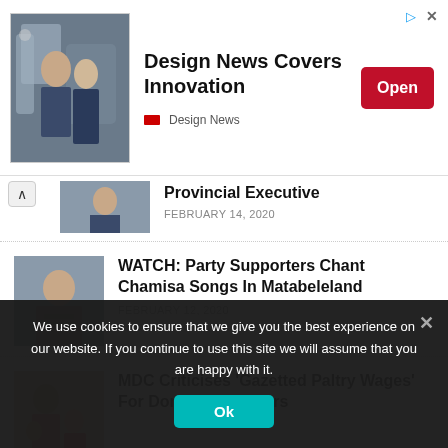[Figure (screenshot): Advertisement banner: Design News Covers Innovation with photo of two people near a robotic arm, Open button in red, Design News logo]
[Figure (photo): Partial article thumbnail of a person at a desk, partially visible headline 'Provincial Executive', date February 14, 2020]
Provincial Executive
FEBRUARY 14, 2020
[Figure (photo): Thumbnail of a man at a desk writing]
WATCH: Party Supporters Chant Chamisa Songs In Matabeleland
FEBRUARY 12, 2020
[Figure (photo): Thumbnail of a family - woman with children]
MDC Criticises ‘Gazetted Paltry Wages’ For Domestic Workers
We use cookies to ensure that we give you the best experience on our website. If you continue to use this site we will assume that you are happy with it.